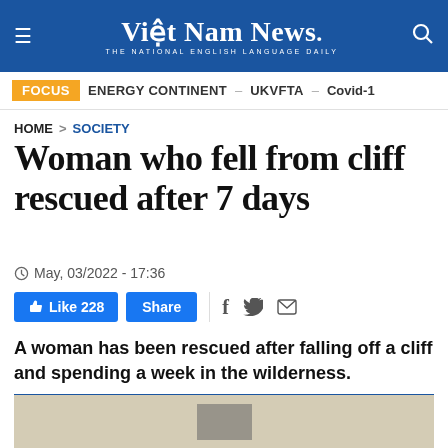Việt Nam News. THE NATIONAL ENGLISH LANGUAGE DAILY
FOCUS   ENERGY CONTINENT – UKVFTA – Covid-1
HOME > SOCIETY
Woman who fell from cliff rescued after 7 days
May, 03/2022 - 17:36
Like 228  Share
A woman has been rescued after falling off a cliff and spending a week in the wilderness.
[Figure (photo): Partially visible image at bottom of page, tan/beige colored background with a dark object in center]